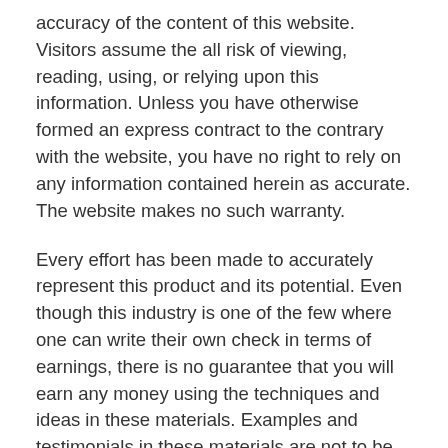accuracy of the content of this website. Visitors assume the all risk of viewing, reading, using, or relying upon this information. Unless you have otherwise formed an express contract to the contrary with the website, you have no right to rely on any information contained herein as accurate. The website makes no such warranty.
Every effort has been made to accurately represent this product and its potential. Even though this industry is one of the few where one can write their own check in terms of earnings, there is no guarantee that you will earn any money using the techniques and ideas in these materials. Examples and testimonials in these materials are not to be interpreted as a promise or guarantee of earnings. Earning potential is entirely dependent on the person using our product, their ideas and techniques. This product is not a business opportunity and only